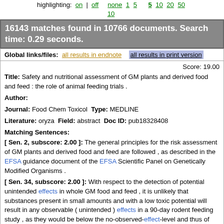highlighting: on | off   none 1 5 10   5 10 20 50
16143 matches found in 10766 documents. Search time: 0.29 seconds.
Global links/files: all results in endnote   all results in print version
Score: 19.00
Title: Safety and nutritional assessment of GM plants and derived food and feed : the role of animal feeding trials .
Author:
Journal: Food Chem Toxicol Type: MEDLINE
Literature: oryza Field: abstract Doc ID: pub18328408
Matching Sentences:
[ Sen. 2, subscore: 2.00 ]: The general principles for the risk assessment of GM plants and derived food and feed are followed , as described in the EFSA guidance document of the EFSA Scientific Panel on Genetically Modified Organisms .
[ Sen. 34, subscore: 2.00 ]: With respect to the detection of potential unintended effects in whole GM food and feed , it is unlikely that substances present in small amounts and with a low toxic potential will result in any observable ( unintended ) effects in a 90-day rodent feeding study , as they would be below the no-observed-effect-level and thus of unlikely impact to human health at normal intake levels .
[ Sen. 35, subscore: 2.00 ]: Laboratory animal feeding studies of 90-days duration appear to be sufficient to pick up adverse effects of diverse compounds that would also give adverse effects after chronic exposure .